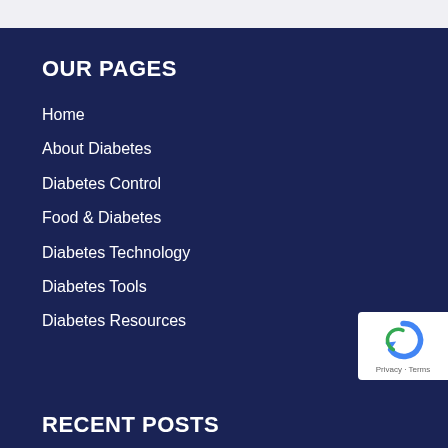OUR PAGES
Home
About Diabetes
Diabetes Control
Food & Diabetes
Diabetes Technology
Diabetes Tools
Diabetes Resources
RECENT POSTS